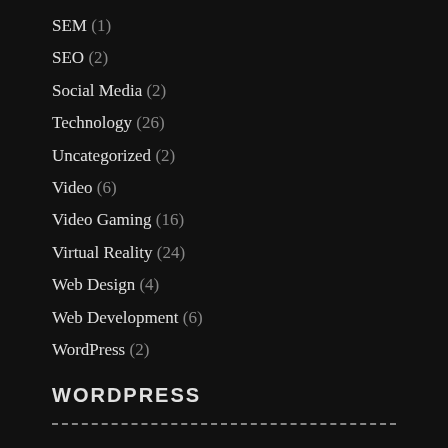SEM (1)
SEO (2)
Social Media (2)
Technology (26)
Uncategorized (2)
Video (6)
Video Gaming (16)
Virtual Reality (24)
Web Design (4)
Web Development (6)
WordPress (2)
WORDPRESS
Log in
WordPress